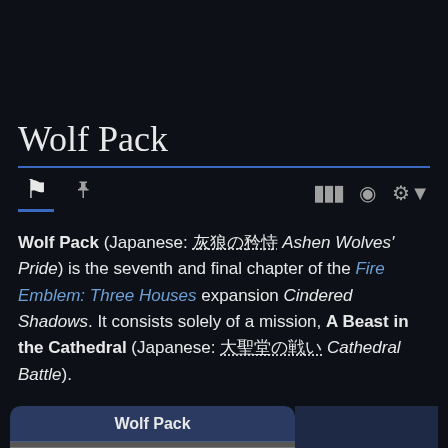Wolf Pack
Wolf Pack (Japanese: 灰狼の矜恃 Ashen Wolves' Pride) is the seventh and final chapter of the Fire Emblem: Three Houses expansion Cindered Shadows. It consists solely of a mission, A Beast in the Cathedral (Japanese: 大聖堂の戦い Cathedral Battle).
[Figure (screenshot): Info card showing 'Wolf Pack' header with a game map grid screenshot below it, partially visible. Right side shows a dark blue panel.]